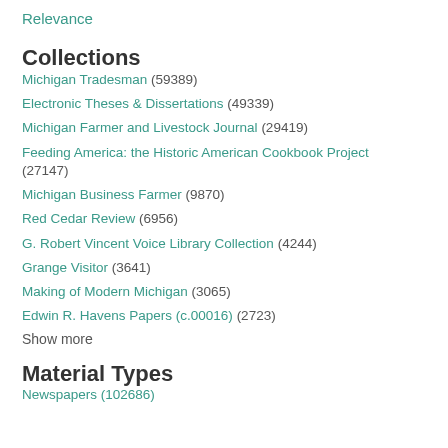Relevance
Collections
Michigan Tradesman (59389)
Electronic Theses & Dissertations (49339)
Michigan Farmer and Livestock Journal (29419)
Feeding America: the Historic American Cookbook Project (27147)
Michigan Business Farmer (9870)
Red Cedar Review (6956)
G. Robert Vincent Voice Library Collection (4244)
Grange Visitor (3641)
Making of Modern Michigan (3065)
Edwin R. Havens Papers (c.00016) (2723)
Show more
Material Types
Newspapers (102686)